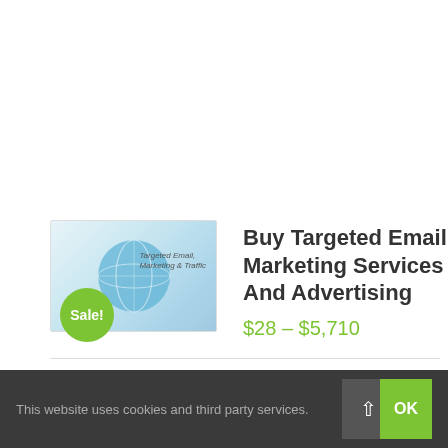[Figure (illustration): Product thumbnail showing a globe graphic with 'Targeted Email, Marketing & Traffic' text overlay and a green 'Sale!' badge]
Buy Targeted Email Marketing Services And Advertising
$28 – $5,710
Buy Targeted Email Marketing Services through SEO25 enables your business to reach thousands of consumers who are likely to be interested in your products or services. With a variety of packages.
You are not alone in your quest for targeted email marketing & Advertising services. Our team of
This website uses cookies and third party services.